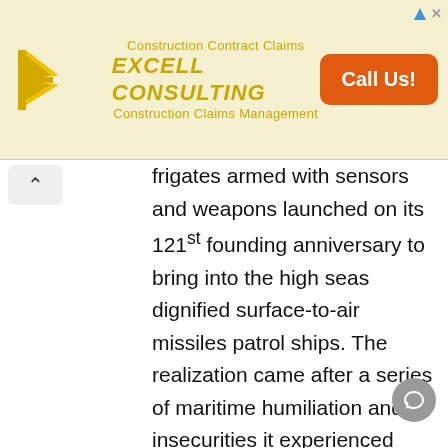[Figure (other): Excell Consulting advertisement banner with logo, company name, tagline 'Construction Contract Claims / EXCELL CONSULTING / Construction Claims Management' and orange 'Call Us!' button]
frigates armed with sensors and weapons launched on its 121st founding anniversary to bring into the high seas dignified surface-to-air missiles patrol ships. The realization came after a series of maritime humiliation and insecurities it experienced from the 1995 Chinese structures on Mischief Reef in the Spratlys, to the 2012 Scarborough Shoal standoff, and the March 2021's naval tussle in the Whitsun Reef. The three major maritime and territorial insults to the Philippines' national sovereignty and territorial integrity